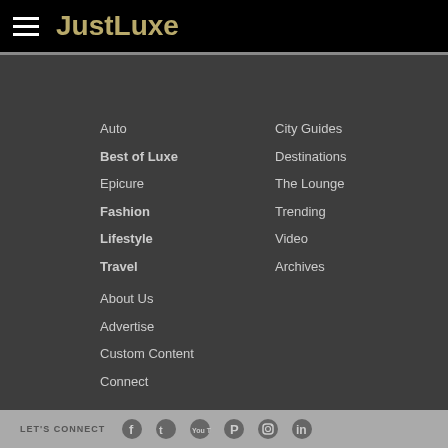JustLuxe
Auto
Best of Luxe
Epicure
Fashion
Lifestyle
Travel
City Guides
Destinations
The Lounge
Trending
Video
Archives
About Us
Advertise
Custom Content
Connect
LET'S CONNECT